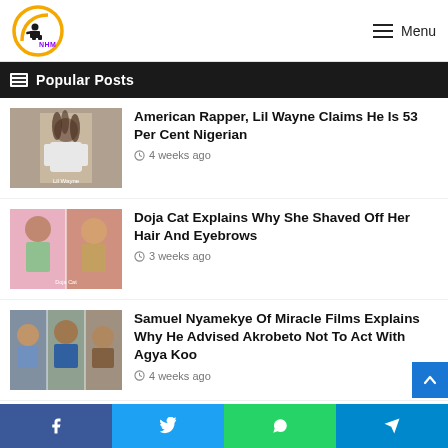NHM — Menu
Popular Posts
[Figure (photo): Photo of Lil Wayne raising arms]
American Rapper, Lil Wayne Claims He Is 53 Per Cent Nigerian
4 weeks ago
[Figure (photo): Photo collage of Doja Cat with shaved head]
Doja Cat Explains Why She Shaved Off Her Hair And Eyebrows
3 weeks ago
[Figure (photo): Photo collage of Samuel Nyamekye and others]
Samuel Nyamekye Of Miracle Films Explains Why He Advised Akrobeto Not To Act With Agya Koo
4 weeks ago